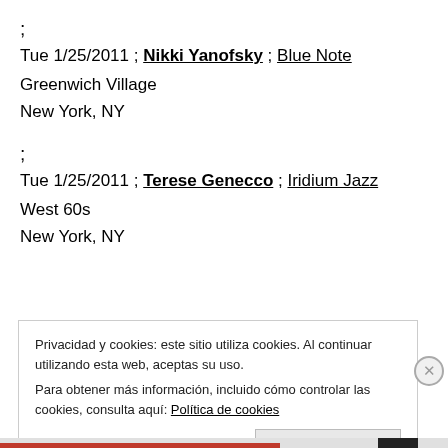;
Tue 1/25/2011 ; Nikki Yanofsky ; Blue Note
Greenwich Village
New York, NY
;
Tue 1/25/2011 ; Terese Genecco ; Iridium Jazz
West 60s
New York, NY
Privacidad y cookies: este sitio utiliza cookies. Al continuar utilizando esta web, aceptas su uso.
Para obtener más información, incluido cómo controlar las cookies, consulta aquí: Política de cookies
Cerrar y aceptar